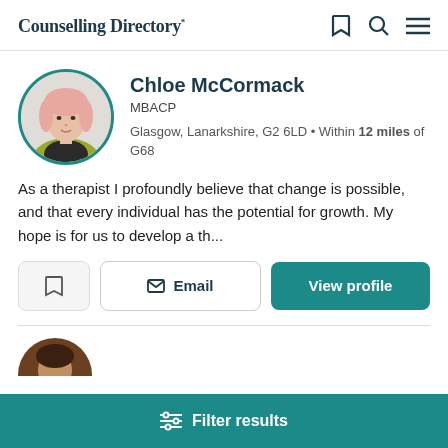Counselling Directory*
[Figure (photo): Profile photo of Chloe McCormack, a woman with short pink/blonde hair wearing a mustard yellow jacket, in a circular frame with teal border]
Chloe McCormack
MBACP
Glasgow, Lanarkshire, G2 6LD • Within 12 miles of G68
As a therapist I profoundly believe that change is possible, and that every individual has the potential for growth. My hope is for us to develop a th...
Email
View profile
[Figure (photo): Partial view of another therapist's circular profile photo (top half visible), showing a person with dark hair]
Filter results